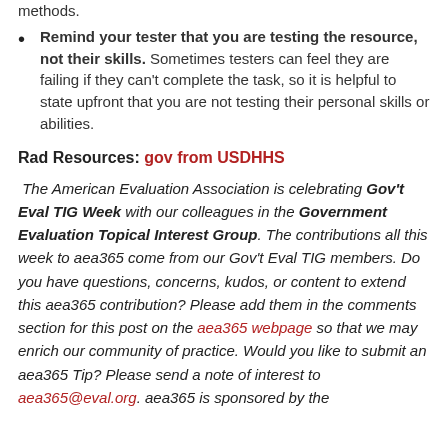methods.
Remind your tester that you are testing the resource, not their skills. Sometimes testers can feel they are failing if they can't complete the task, so it is helpful to state upfront that you are not testing their personal skills or abilities.
Rad Resources: gov from USDHHS
The American Evaluation Association is celebrating Gov't Eval TIG Week with our colleagues in the Government Evaluation Topical Interest Group. The contributions all this week to aea365 come from our Gov't Eval TIG members. Do you have questions, concerns, kudos, or content to extend this aea365 contribution? Please add them in the comments section for this post on the aea365 webpage so that we may enrich our community of practice. Would you like to submit an aea365 Tip? Please send a note of interest to aea365@eval.org. aea365 is sponsored by the